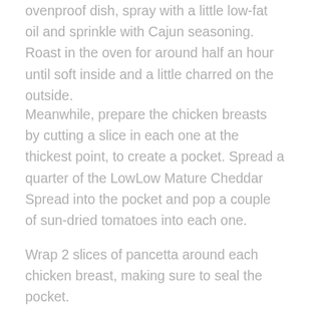ovenproof dish, spray with a little low-fat oil and sprinkle with Cajun seasoning. Roast in the oven for around half an hour until soft inside and a little charred on the outside.
Meanwhile, prepare the chicken breasts by cutting a slice in each one at the thickest point, to create a pocket. Spread a quarter of the LowLow Mature Cheddar Spread into the pocket and pop a couple of sun-dried tomatoes into each one.
Wrap 2 slices of pancetta around each chicken breast, making sure to seal the pocket.